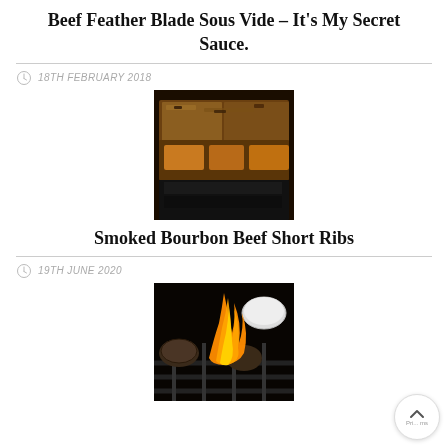Beef Feather Blade Sous Vide – It's My Secret Sauce.
18TH FEBRUARY 2018
[Figure (photo): Close-up photo of beef feather blade sous vide with browned crust]
Smoked Bourbon Beef Short Ribs
19TH JUNE 2020
[Figure (photo): Photo of items grilling on a barbecue grill with flames]